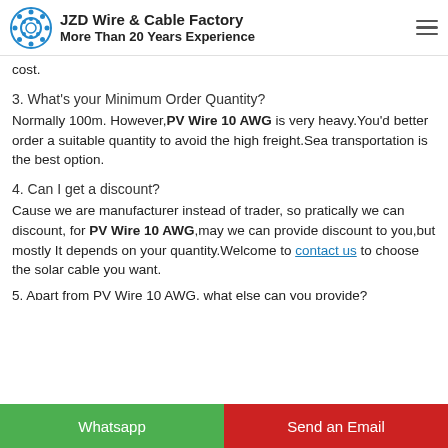JZD Wire & Cable Factory
More Than 20 Years Experience
cost.
3. What's your Minimum Order Quantity?
Normally 100m. However, PV Wire 10 AWG is very heavy.You'd better order a suitable quantity to avoid the high freight.Sea transportation is the best option.
4. Can I get a discount?
Cause we are manufacturer instead of trader, so pratically we can discount, for PV Wire 10 AWG,may we can provide discount to you,but mostly It depends on your quantity.Welcome to contact us to choose the solar cable you want.
Whatsapp    Send an Email